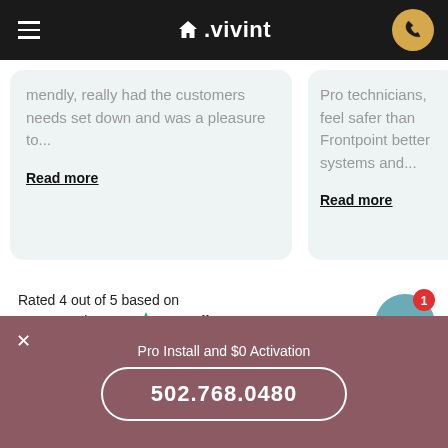vivint
mendly, really had the customers needs set down and was a pleasure to...
Read more
Pro technicians, feel safer than Frontpoint better systems and...
Read more
Rated 4 out of 5 based on 27,851 reviews on Trustpilot
Pro Install and $0 Activation
502.768.0480